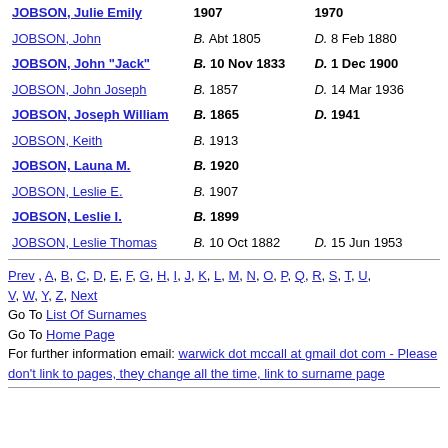| Name | Birth | Death |
| --- | --- | --- |
| JOBSON, Julie Emily | B. 1907 | D. 1970 |
| JOBSON, John | B. Abt 1805 | D. 8 Feb 1880 |
| JOBSON, John "Jack" | B. 10 Nov 1833 | D. 1 Dec 1900 |
| JOBSON, John Joseph | B. 1857 | D. 14 Mar 1936 |
| JOBSON, Joseph William | B. 1865 | D. 1941 |
| JOBSON, Keith | B. 1913 |  |
| JOBSON, Launa M. | B. 1920 |  |
| JOBSON, Leslie E. | B. 1907 |  |
| JOBSON, Leslie I. | B. 1899 |  |
| JOBSON, Leslie Thomas | B. 10 Oct 1882 | D. 15 Jun 1953 |
Prev , A, B, C, D, E, F, G, H, I, J, K, L, M, N, O, P, Q, R, S, T, U, V, W, Y, Z, Next
Go To List Of Surnames
Go To Home Page
For further information email: warwick dot mccall at gmail dot com - Please don't link to pages, they change all the time, link to surname page